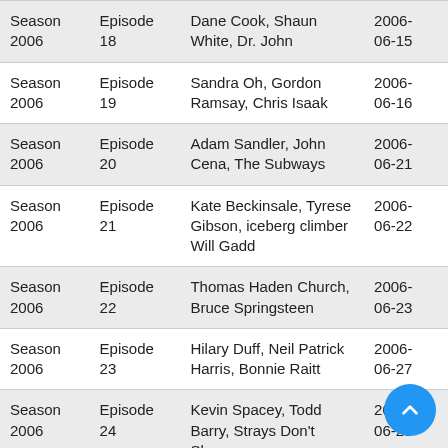| Season | Episode | Guests | Date |
| --- | --- | --- | --- |
| Season 2006 | Episode 18 | Dane Cook, Shaun White, Dr. John | 2006-06-15 |
| Season 2006 | Episode 19 | Sandra Oh, Gordon Ramsay, Chris Isaak | 2006-06-16 |
| Season 2006 | Episode 20 | Adam Sandler, John Cena, The Subways | 2006-06-21 |
| Season 2006 | Episode 21 | Kate Beckinsale, Tyrese Gibson, iceberg climber Will Gadd | 2006-06-22 |
| Season 2006 | Episode 22 | Thomas Haden Church, Bruce Springsteen | 2006-06-23 |
| Season 2006 | Episode 23 | Hilary Duff, Neil Patrick Harris, Bonnie Raitt | 2006-06-27 |
| Season 2006 | Episode 24 | Kevin Spacey, Todd Barry, Strays Don't Sleep | 2006-06-28 |